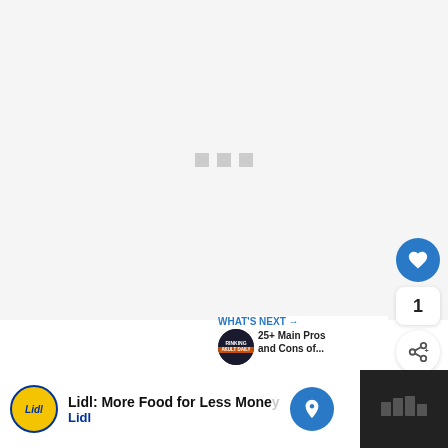[Figure (photo): Loading image placeholder with three grey squares on a light grey background]
Even if it is an economic downfo... political strife or some business scandal t... tank. v...
[Figure (infographic): WHAT'S NEXT arrow widget with thumbnail showing 'RINKING AKULT DAILY' and text '25+ Main Pros and Cons of...']
[Figure (infographic): Lidl advertisement: 'Lidl: More Food for Less Money' with Lidl logo and navigation arrow]